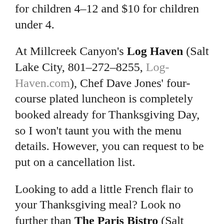for children 4–12 and $10 for children under 4.
At Millcreek Canyon's Log Haven (Salt Lake City, 801–272–8255, Log-Haven.com), Chef Dave Jones' four-course plated luncheon is completely booked already for Thanksgiving Day, so I won't taunt you with the menu details. However, you can request to be put on a cancellation list.
Looking to add a little French flair to your Thanksgiving meal? Look no further than The Paris Bistro (Salt Lake City, 801–486–5585, TheParis.net), where Eric DeBonis and his talented team will be serving their 14th-annual Thanksgiving dinner. It begins with wild chanterelle mushroom flatbread, continues with a choice of roasted pumpkin soup or mesclun salad, and the main event is Utah Wight Family Farms free-range roasted turkey with an array of